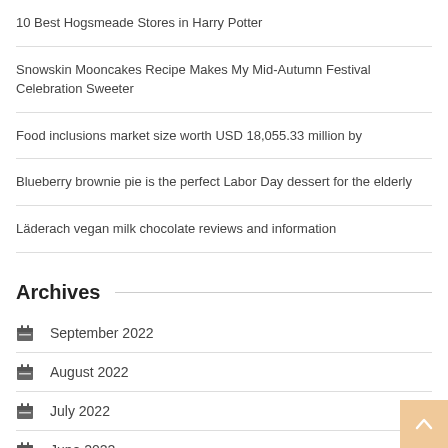10 Best Hogsmeade Stores in Harry Potter
Snowskin Mooncakes Recipe Makes My Mid-Autumn Festival Celebration Sweeter
Food inclusions market size worth USD 18,055.33 million by
Blueberry brownie pie is the perfect Labor Day dessert for the elderly
Läderach vegan milk chocolate reviews and information
Archives
September 2022
August 2022
July 2022
June 2022